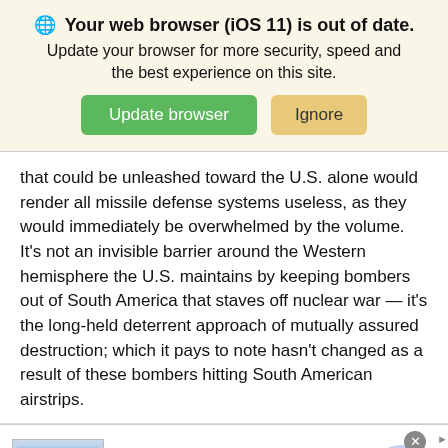[Figure (screenshot): Browser update notification banner with globe icon, bold title 'Your web browser (iOS 11) is out of date.', subtitle text, and two buttons: green 'Update browser' and tan 'Ignore']
that could be unleashed toward the U.S. alone would render all missile defense systems useless, as they would immediately be overwhelmed by the volume. It’s not an invisible barrier around the Western hemisphere the U.S. maintains by keeping bombers out of South America that staves off nuclear war — it’s the long-held deterrent approach of mutually assured destruction; which it pays to note hasn’t changed as a result of these bombers hitting South American airstrips.
[Figure (screenshot): Advertisement banner for Kohl's: 'Up to 60% off Clothing at Kohl's', with store image on left, text 'Save up to 60% on clothing and homeware at Kohls.com', URL 'kohls.com', and a purple circle arrow button on right. Close button (x) in top right corner.]